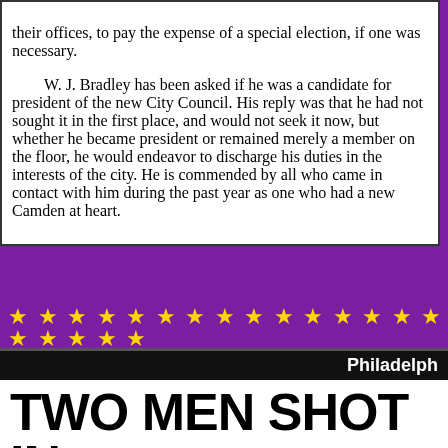their offices, to pay the expense of a special election, if one was necessary. W. J. Bradley has been asked if he was a candidate for president of the new City Council. His reply was that he had not sought it in the first place, and would not seek it now, but whether he became president or remained merely a member on the floor, he would endeavor to discharge his duties in the interests of the city. He is commended by all who came in contact with him during the past year as one who had a new Camden at heart.
[Figure (other): A decorative row of gold stars on a purple background]
Philadelph
TWO MEN SHOT IN